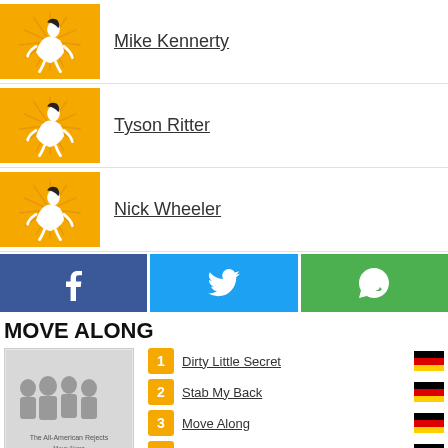Mike Kennerty
Tyson Ritter
Nick Wheeler
[Figure (other): Social share buttons: Facebook, Twitter, WhatsApp]
MOVE ALONG
[Figure (photo): Album cover for Move Along by The All-American Rejects]
kaufen
Gefällt mir
1 Dirty Little Secret
2 Stab My Back
3 Move Along
4 It Ends Tonight